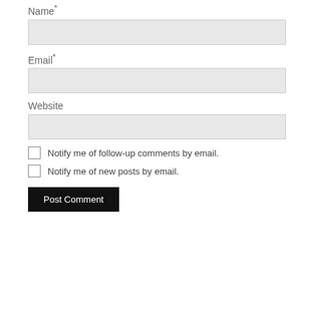Name*
[Figure (other): Text input field for Name]
Email*
[Figure (other): Text input field for Email]
Website
[Figure (other): Text input field for Website]
Notify me of follow-up comments by email.
Notify me of new posts by email.
Post Comment